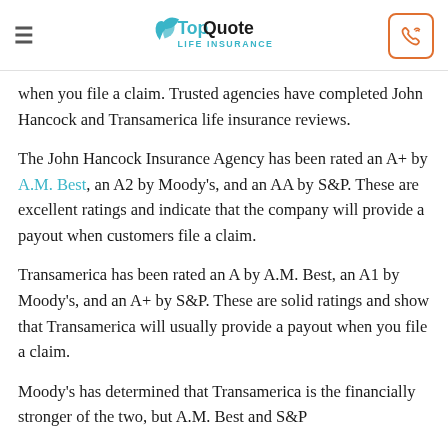TopQuote LIFE INSURANCE
when you file a claim. Trusted agencies have completed John Hancock and Transamerica life insurance reviews.
The John Hancock Insurance Agency has been rated an A+ by A.M. Best, an A2 by Moody's, and an AA by S&P. These are excellent ratings and indicate that the company will provide a payout when customers file a claim.
Transamerica has been rated an A by A.M. Best, an A1 by Moody's, and an A+ by S&P. These are solid ratings and show that Transamerica will usually provide a payout when you file a claim.
Moody's has determined that Transamerica is the financially stronger of the two, but A.M. Best and S&P have provided better marks to John Hancock.